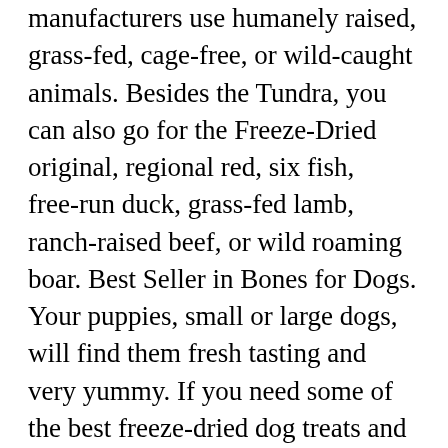manufacturers use humanely raised, grass-fed, cage-free, or wild-caught animals. Besides the Tundra, you can also go for the Freeze-Dried original, regional red, six fish, free-run duck, grass-fed lamb, ranch-raised beef, or wild roaming boar. Best Seller in Bones for Dogs. Your puppies, small or large dogs, will find them fresh tasting and very yummy. If you need some of the best freeze-dried dog treats and rewards, some of the best brands include the following: If you want the top-rated and undoubtedly best freeze-dried treats, look no further than Steward-Pro Beef Liver. Due to all these great nutritional benefits, the best kind of liver dog treats are introduced to you today. Even though liver disease in dogs can be contracted for a variety of different reasons, you will see the same symptoms in every dog. These homemade liver treats for dogs are: